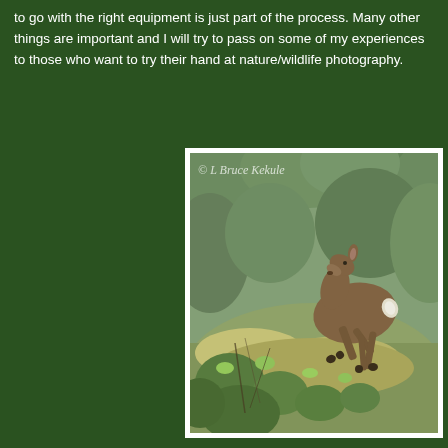to go with the right equipment is just part of the process. Many other things are important and I will try to pass on some of my experiences to those who want to try their hand at nature/wildlife photography.
[Figure (photo): A deer leaping through dense green woodland undergrowth and shrubs. The deer is brown, captured mid-jump from a side-rear angle. The background is green foliage and trees in soft focus. A watermark reads '© L Bruce Kekule' in italic script at the top left of the image.]